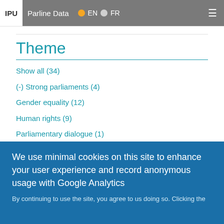IPU | Parline Data | EN | FR
Theme
Show all (34)
(-) Strong parliaments (4)
Gender equality (12)
Human rights (9)
Parliamentary dialogue (1)
(-) Youth empowerment (3)
Sustainable development (3)
(-) Global governance (1)
Health (1)
News
We use minimal cookies on this site to enhance your user experience and record anonymous usage with Google Analytics
By continuing to use the site, you agree to us doing so. Clicking the